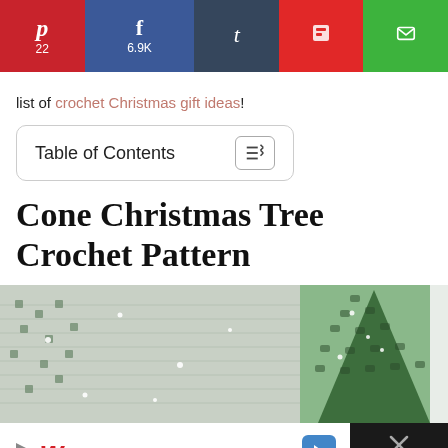[Figure (infographic): Social share bar with Pinterest (P, 22), Facebook (f, 6.9K), Tumblr (t), Flipboard, and Email icons]
list of crochet Christmas gift ideas!
Table of Contents
Cone Christmas Tree Crochet Pattern
[Figure (photo): Close-up photo of crocheted cone Christmas trees — white/green sparkly tree on left, solid green cone tree on right]
[Figure (infographic): Bottom ad bar: Walgreens ad on white background with navigation icon, close X button on dark background]